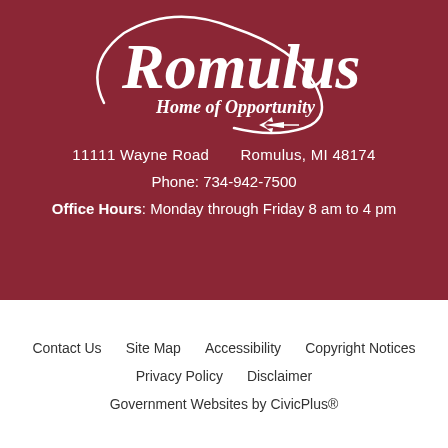[Figure (logo): Romulus city logo with cursive text 'Romulus' and tagline 'Home of Opportunity' with small airplane graphic, white on dark red background]
11111 Wayne Road      Romulus, MI 48174
Phone: 734-942-7500
Office Hours: Monday through Friday 8 am to 4 pm
Contact Us   Site Map   Accessibility   Copyright Notices
Privacy Policy   Disclaimer
Government Websites by CivicPlus®